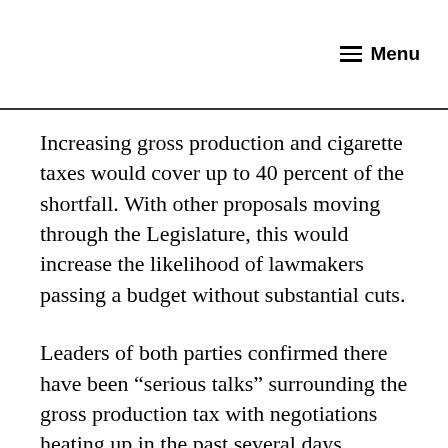≡ Menu
Increasing gross production and cigarette taxes would cover up to 40 percent of the shortfall. With other proposals moving through the Legislature, this would increase the likelihood of lawmakers passing a budget without substantial cuts.
Leaders of both parties confirmed there have been “serious talks” surrounding the gross production tax with negotiations heating up in the past several days.
But Speaker Charles McCall, R-Atoka,